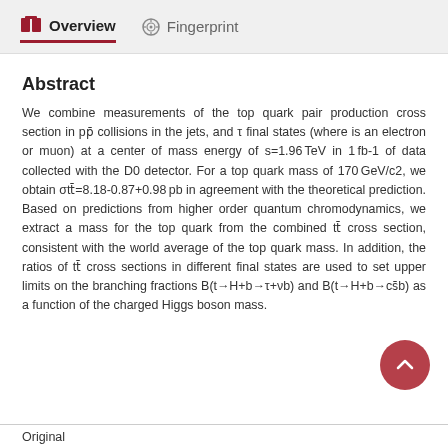Overview   Fingerprint
Abstract
We combine measurements of the top quark pair production cross section in pp̄ collisions in the jets, and τ final states (where is an electron or muon) at a center of mass energy of s=1.96TeV in 1fb-1 of data collected with the D0 detector. For a top quark mass of 170GeV/c2, we obtain σtt̄=8.18-0.87+0.98pb in agreement with the theoretical prediction. Based on predictions from higher order quantum chromodynamics, we extract a mass for the top quark from the combined tt̄ cross section, consistent with the world average of the top quark mass. In addition, the ratios of tt̄ cross sections in different final states are used to set upper limits on the branching fractions B(t→H+b→τ+νb) and B(t→H+b→cs̄b) as a function of the charged Higgs boson mass.
Original